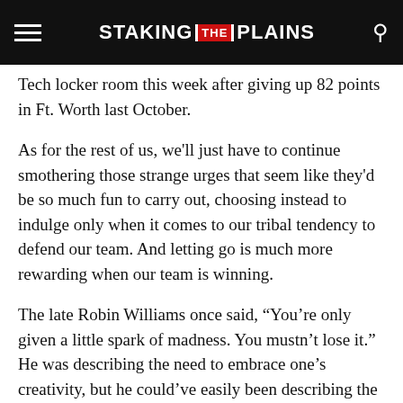STAKING THE PLAINS
Tech locker room this week after giving up 82 points in Ft. Worth last October.
As for the rest of us, we'll just have to continue smothering those strange urges that seem like they'd be so much fun to carry out, choosing instead to indulge only when it comes to our tribal tendency to defend our team. And letting go is much more rewarding when our team is winning.
The late Robin Williams once said, “You’re only given a little spark of madness. You mustn’t lose it.” He was describing the need to embrace one’s creativity, but he could’ve easily been describing the fandom found in all of us and the importance of never letting its flame die. So on Saturdays we